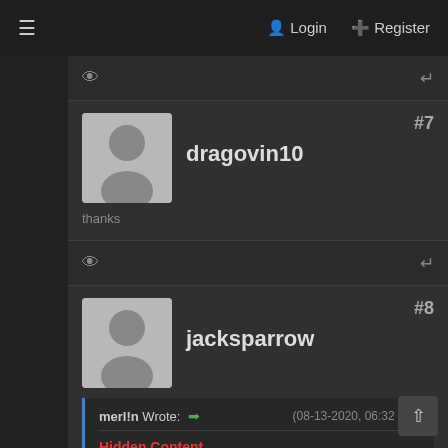≡  Login  + Register
dragovin10  #7
thanks
jacksparrow  #8
merl!n Wrote: →  (08-13-2020, 06:32 PM)
Hidden Content
You must reply to this thread to view this co